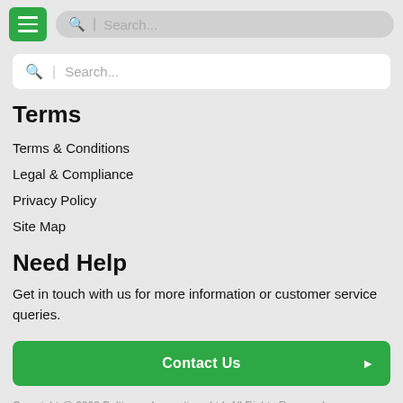[Figure (screenshot): Top navigation bar with green hamburger menu button and gray search box]
[Figure (screenshot): White search bar with gray search icon and placeholder text 'Search...']
Terms
Terms & Conditions
Legal & Compliance
Privacy Policy
Site Map
Need Help
Get in touch with us for more information or customer service queries.
Contact Us
Copyright @ 2022 Baltimore Innovations Ltd. All Rights Reserved.